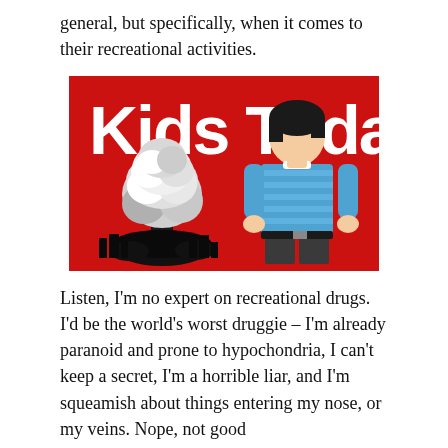general, but specifically, when it comes to their recreational activities.
[Figure (illustration): Illustration of a 'Kids Today' magazine cover with red background, large white bold text reading 'Kids Today', a boy in a blue striped shirt viewed from behind, and a nuclear mushroom cloud explosion on the left side.]
Listen, I'm no expert on recreational drugs. I'd be the world's worst druggie – I'm already paranoid and prone to hypochondria, I can't keep a secret, I'm a horrible liar, and I'm squeamish about things entering my nose, or my veins. Nope, not good